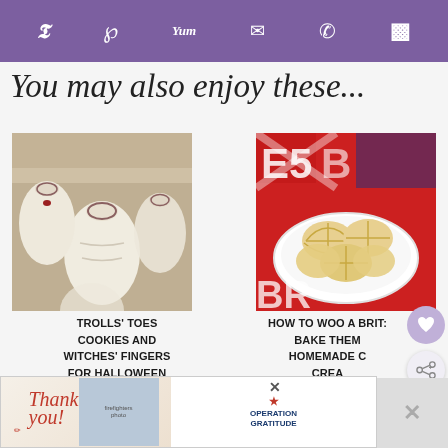Social sharing icons: Twitter, Pinterest, Yummly, Email, WhatsApp, Flipboard
You may also enjoy these...
[Figure (photo): Finger-shaped cookies resembling toes/fingers, white dough with dark nail details on a wooden board]
[Figure (photo): Shortbread sandwich cookies on a white plate on a red Union Jack background]
TROLLS' TOES COOKIES AND WITCHES' FINGERS FOR HALLOWEEN
HOW TO WOO A BRIT: BAKE THEM HOMEMADE CREAM...
[Figure (photo): Partial bottom-left image, appears to show cookies or baked goods]
[Figure (photo): Partial bottom-right image, dark brown background, baked goods]
WHAT'S NEXT → Trolls' Toes Cookies and...
[Figure (photo): Advertisement banner: Thank you with Operation Gratitude logo, firefighters photo]